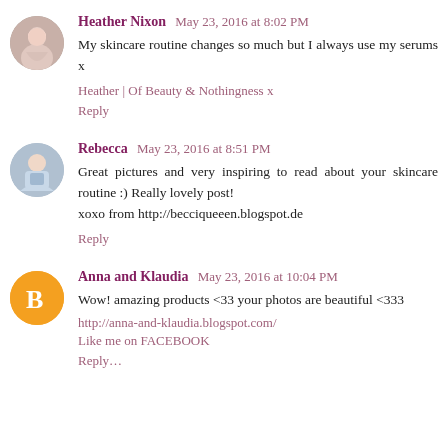Heather Nixon  May 23, 2016 at 8:02 PM
My skincare routine changes so much but I always use my serums x
Heather | Of Beauty & Nothingness x
Reply
Rebecca  May 23, 2016 at 8:51 PM
Great pictures and very inspiring to read about your skincare routine :) Really lovely post!
xoxo from http://becciqueeen.blogspot.de
Reply
Anna and Klaudia  May 23, 2016 at 10:04 PM
Wow! amazing products <33 your photos are beautiful <333
http://anna-and-klaudia.blogspot.com/
Like me on FACEBOOK
Reply